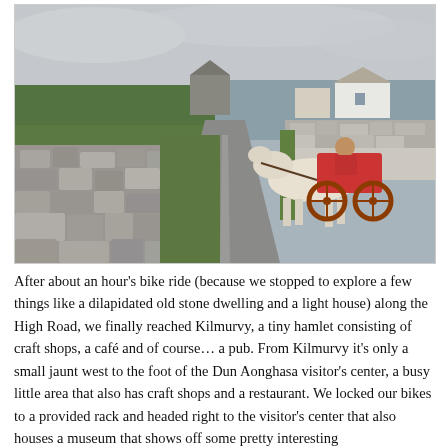[Figure (photo): A horse-drawn red cart with a white horse travels along a narrow rural road flanked by dry stone walls, with green fields and grey overcast sky in the background. Old stone buildings are visible in the distance.]
After about an hour's bike ride (because we stopped to explore a few things like a dilapidated old stone dwelling and a light house) along the High Road, we finally reached Kilmurvy, a tiny hamlet consisting of craft shops, a café and of course… a pub. From Kilmurvy it's only a small jaunt west to the foot of the Dun Aonghasa visitor's center, a busy little area that also has craft shops and a restaurant. We locked our bikes to a provided rack and headed right to the visitor's center that also houses a museum that shows off some pretty interesting